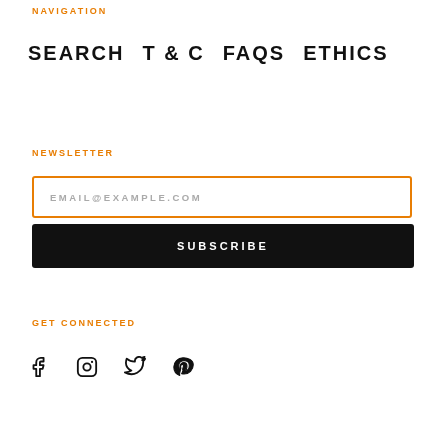NAVIGATION
SEARCH   T & C   FAQS   ETHICS
NEWSLETTER
EMAIL@EXAMPLE.COM
SUBSCRIBE
GET CONNECTED
[Figure (other): Social media icons: Facebook, Instagram, Twitter, Pinterest]